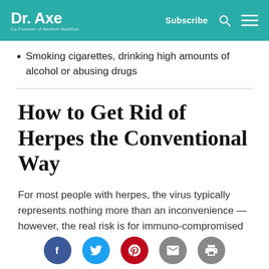Dr. Axe — Co-Founder of Ancient Nutrition | Subscribe
Smoking cigarettes, drinking high amounts of alcohol or abusing drugs
How to Get Rid of Herpes the Conventional Way
For most people with herpes, the virus typically represents nothing more than an inconvenience — however, the real risk is for immuno-compromised patients who can't easily manage infections. In these patients, such as those with
Social share buttons: Facebook, Twitter, Pinterest, Email, Print